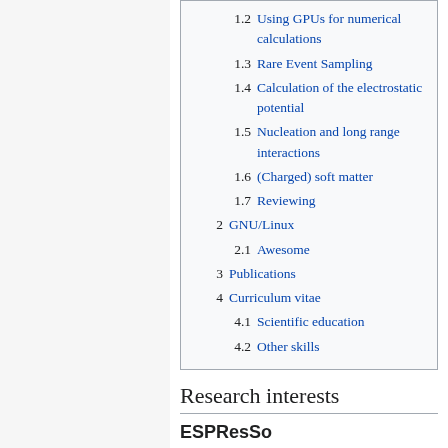1.2 Using GPUs for numerical calculations
1.3 Rare Event Sampling
1.4 Calculation of the electrostatic potential
1.5 Nucleation and long range interactions
1.6 (Charged) soft matter
1.7 Reviewing
2 GNU/Linux
2.1 Awesome
3 Publications
4 Curriculum vitae
4.1 Scientific education
4.2 Other skills
Research interests
ESPResSo